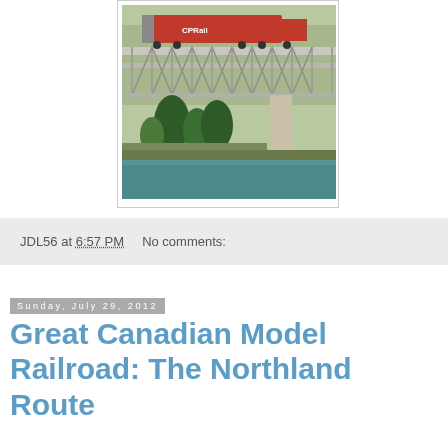[Figure (photo): Model railroad scene showing a CP Rail locomotive on a steel truss bridge over a river with trees and scenery below]
JDL56 at 6:57 PM    No comments:
Sunday, July 29, 2012
Great Canadian Model Railroad: The Northland Route